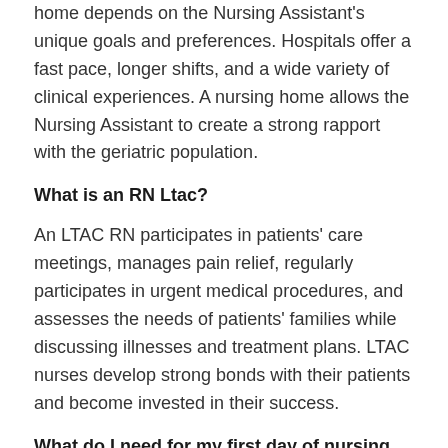home depends on the Nursing Assistant's unique goals and preferences. Hospitals offer a fast pace, longer shifts, and a wide variety of clinical experiences. A nursing home allows the Nursing Assistant to create a strong rapport with the geriatric population.
What is an RN Ltac?
An LTAC RN participates in patients' care meetings, manages pain relief, regularly participates in urgent medical procedures, and assesses the needs of patients' families while discussing illnesses and treatment plans. LTAC nurses develop strong bonds with their patients and become invested in their success.
What do I need for my first day of nursing